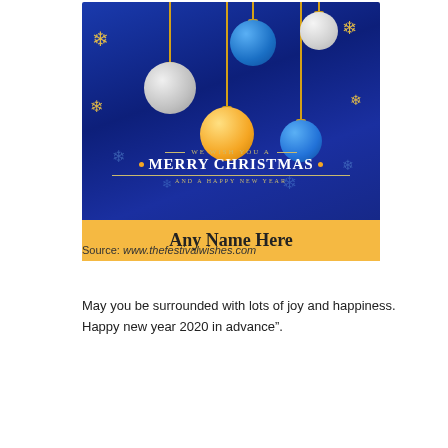[Figure (illustration): Christmas greeting card with blue background featuring hanging ornament balls (white, blue, gold), gold snowflakes, text 'WE WISH YOU A MERRY CHRISTMAS AND A HAPPY NEW YEAR', and a gold banner reading 'Any Name Here']
Source: www.thefestivalwishes.com
May you be surrounded with lots of joy and happiness. Happy new year 2020 in advance".